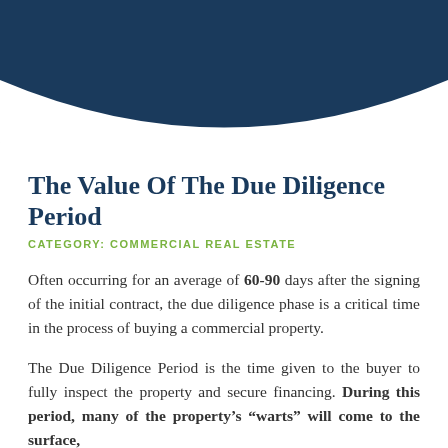[Figure (illustration): Dark navy blue decorative arc/wave shape at the top of the page as a header graphic element]
The Value Of The Due Diligence Period
CATEGORY: COMMERCIAL REAL ESTATE
Often occurring for an average of 60-90 days after the signing of the initial contract, the due diligence phase is a critical time in the process of buying a commercial property.
The Due Diligence Period is the time given to the buyer to fully inspect the property and secure financing. During this period, many of the property’s “warts” will come to the surface,